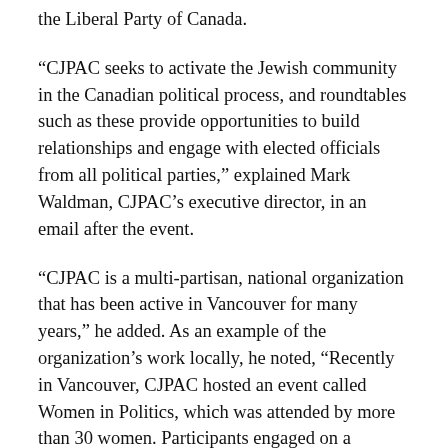the Liberal Party of Canada.
“CJPAC seeks to activate the Jewish community in the Canadian political process, and roundtables such as these provide opportunities to build relationships and engage with elected officials from all political parties,” explained Mark Waldman, CJPAC’s executive director, in an email after the event.
“CJPAC is a multi-partisan, national organization that has been active in Vancouver for many years,” he added. As an example of the organization’s work locally, he noted, “Recently in Vancouver, CJPAC hosted an event called Women in Politics, which was attended by more than 30 women. Participants engaged on a personal level with former and current female politicians from a number of political parties and levels of government.”